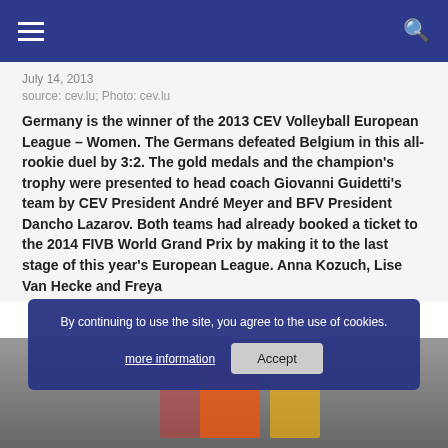Navigation bar with hamburger menu and search icon
July 14, 2013
source: cev.lu; Photo: cev.lu
Germany is the winner of the 2013 CEV Volleyball European League – Women. The Germans defeated Belgium in this all-rookie duel by 3:2. The gold medals and the champion's trophy were presented to head coach Giovanni Guidetti's team by CEV President André Meyer and BFV President Dancho Lazarov. Both teams had already booked a ticket to the 2014 FIVB World Grand Prix by making it to the last stage of this year's European League. Anna Kozuch, Lise Van Hecke and Freya...
[Figure (photo): Photo of volleyball players with flags/jerseys]
By continuing to use the site, you agree to the use of cookies.
more information
Accept